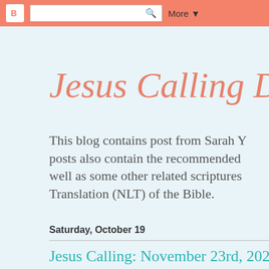Blogger | More ▾
Jesus Calling Dai…
This blog contains post from Sarah Y… posts also contain the recommended… well as some other related scriptures… Translation (NLT) of the Bible.
Saturday, October 19
Jesus Calling: November 23rd, 2022
Jesus Calling: November 23…